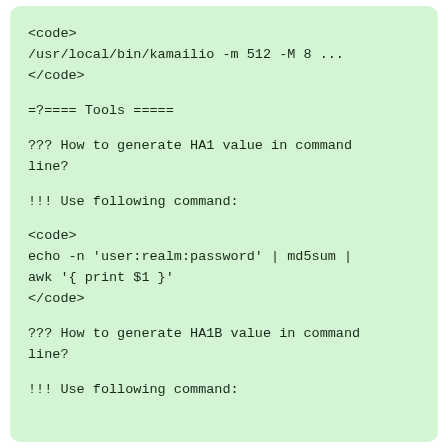<code>
/usr/local/bin/kamailio -m 512 -M 8 ...
</code>
=?==== Tools =====
??? How to generate HA1 value in command line?
!!! Use following command:
<code>
echo -n 'user:realm:password' | md5sum |
awk '{ print $1 }'
</code>
??? How to generate HA1B value in command line?
!!! Use following command: